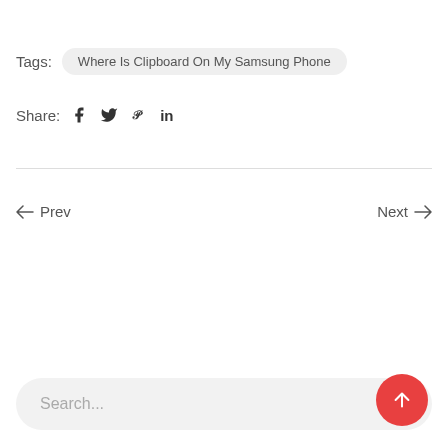Tags: Where Is Clipboard On My Samsung Phone
Share: f  y  p  in
← Prev
Next →
Search...